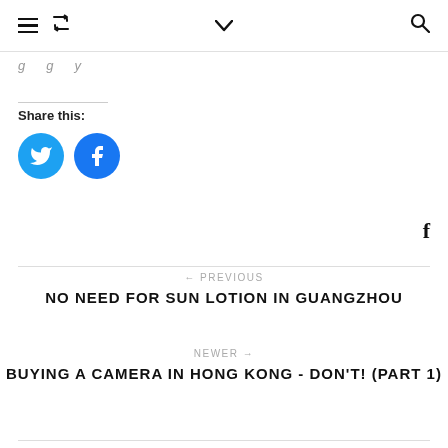≡ ↺ ∨ 🔍
[partially visible text — cut off at top]
Share this:
[Figure (logo): Twitter share button (blue circle with Twitter bird icon)]
[Figure (logo): Facebook share button (blue circle with Facebook f icon)]
f
← PREVIOUS
NO NEED FOR SUN LOTION IN GUANGZHOU
NEWER →
BUYING A CAMERA IN HONG KONG - DON'T! (PART 1)